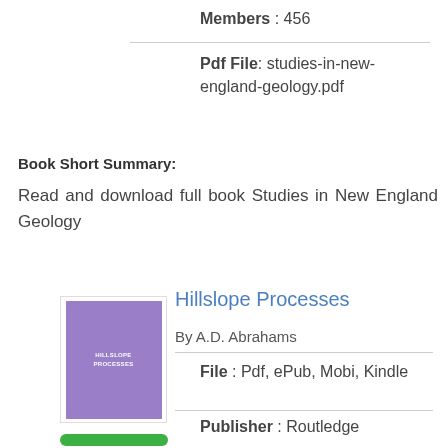Members : 456
Pdf File: studies-in-new-england-geology.pdf
Book Short Summary:
Read and download full book Studies in New England Geology
Hillslope Processes
By A.D. Abrahams
File : Pdf, ePub, Mobi, Kindle
Publisher : Routledge